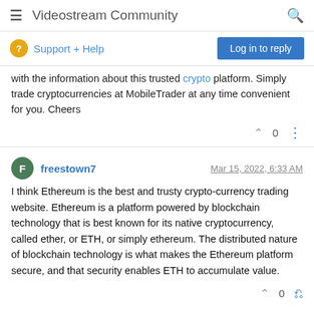Videostream Community
Support + Help
with the information about this trusted crypto platform. Simply trade cryptocurrencies at MobileTrader at any time convenient for you. Cheers
freestown7 — Mar 15, 2022, 6:33 AM
I think Ethereum is the best and trusty crypto-currency trading website. Ethereum is a platform powered by blockchain technology that is best known for its native cryptocurrency, called ether, or ETH, or simply ethereum. The distributed nature of blockchain technology is what makes the Ethereum platform secure, and that security enables ETH to accumulate value.